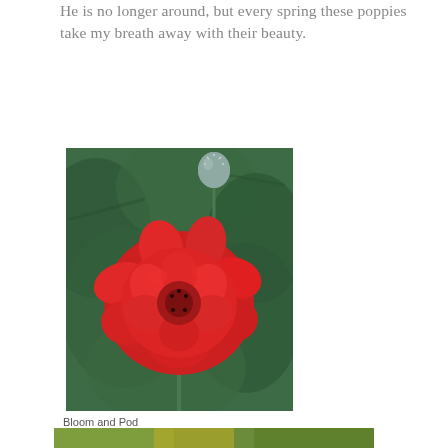He is no longer around, but every spring these poppies take my breath away with their beauty.
[Figure (photo): A vibrant red double-petaled poppy flower in full bloom with a blue-green seed pod on a tall stem above it, surrounded by green foliage in the background.]
Bloom and Pod
[Figure (photo): Partial view of another photo at the bottom of the page showing green and yellowish tones, partially cropped.]